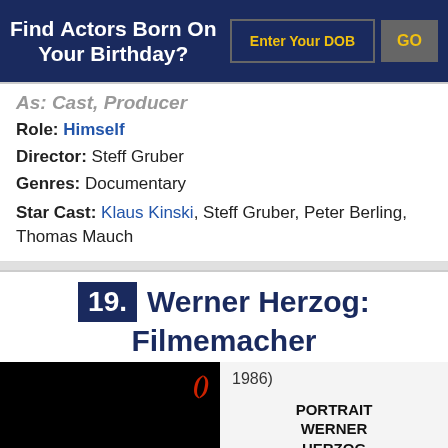Find Actors Born On Your Birthday?
As: Cast, Producer
Role: Himself
Director: Steff Gruber
Genres: Documentary
Star Cast: Klaus Kinski, Steff Gruber, Peter Berling, Thomas Mauch
19. Werner Herzog: Filmemacher
[Figure (photo): Black and white photo of Werner Herzog film cover showing 'PORTRAIT WERNER HERZOG' text with a figure in the background. Year (1986) shown.]